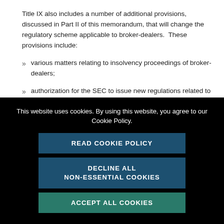Title IX also includes a number of additional provisions, discussed in Part II of this memorandum, that will change the regulatory scheme applicable to broker-dealers. These provisions include:
various matters relating to insolvency proceedings of broker-dealers;
authorization for the SEC to issue new regulations related to securities lending and short sales;
limitations on the ability of broker-dealers to cast proxy
This website uses cookies. By using this website, you agree to our Cookie Policy.
READ COOKIE POLICY
DECLINE ALL NON-ESSENTIAL COOKIES
ACCEPT ALL COOKIES